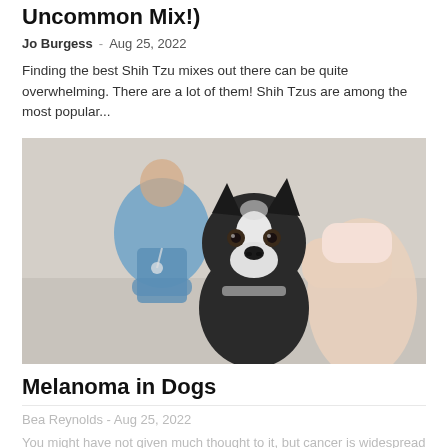Uncommon Mix!)
Jo Burgess  -  Aug 25, 2022
Finding the best Shih Tzu mixes out there can be quite overwhelming. There are a lot of them! Shih Tzus are among the most popular...
[Figure (photo): A person holding a black and white French Bulldog at a veterinary clinic, with a veterinarian in blue scrubs standing in the background]
Melanoma in Dogs
Bea Reynolds  -  Aug 25, 2022
You might have not given much thought to it, but cancer is widespread among